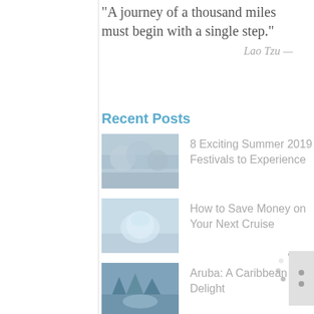“A journey of a thousand miles must begin with a single step.”
Lao Tzu—
Recent Posts
8 Exciting Summer 2019 Festivals to Experience
[Figure (photo): Group of people at a summer festival]
How to Save Money on Your Next Cruise
[Figure (photo): Piggy bank with sunglasses on a beach]
Aruba: A Caribbean Delight
[Figure (photo): Aerial view of Caribbean resort with palm trees and pool]